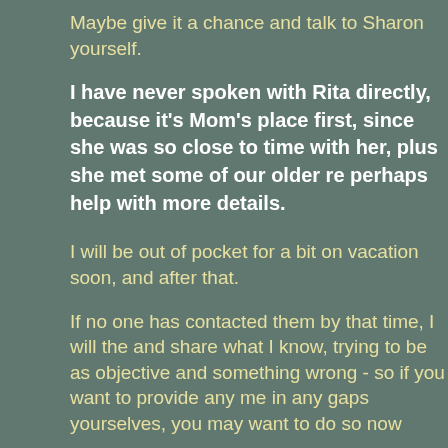Maybe give it a chance and talk to Sharon yourself.
I have never spoken with Rita directly, because it's Mom's place first, since she was so close to time with her, plus she met some of our older re perhaps help with more details.
I will be out of pocket for a bit on vacation soon, and after that.
If no one has contacted them by that time, I will the and share what I know, trying to be as objective and something wrong - so if you want to provide any me in any gaps yourselves, you may want to do so now